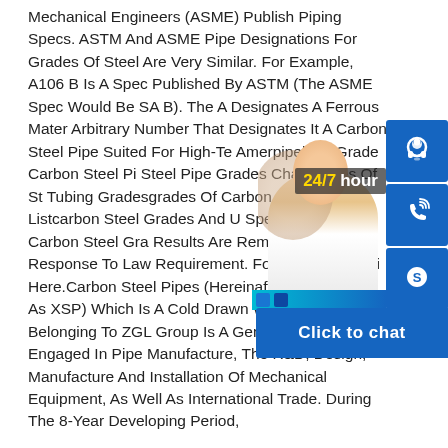Mechanical Engineers (ASME) Publish Piping Specs. ASTM And ASME Pipe Designations For Grades Of Steel Are Very Similar. For Example, A106 B Is A Spec Published By ASTM (The ASME Spec Would Be SA B). The A Designates A Ferrous Material And 106 Is An Arbitrary Number That Designates It A Particular Carbon Steel Pipe Suited For High-Temperature Service. Amerpipehigh Grade Carbon Steel Pipe Steel Pipe Grades Chartgrades Of Steel Tubing Gradesgrades Of Carbon Steel Price Listcarbon Steel Grades And Uses Specificationshigh Carbon Steel Grades Some Results Are Removed In Response To A Notice Of A Law Requirement. For More Information, Please See Here.Carbon Steel Pipes (Hereinafter Referred To As XSP) Which Is A Cold Drawn Working Line Belonging To ZGL Group Is A General Steel Factory Engaged In Pipe Manufacture, The R&D, Design, Manufacture And Installation Of Mechanical Equipment, As Well As International Trade. During The 8-Year Developing Period,
[Figure (infographic): Customer support widget showing a photo of a smiling customer service agent, a '24/7 hour' badge, three blue icon boxes (headset, phone, Skype logo), and a 'Click to chat' button bar]